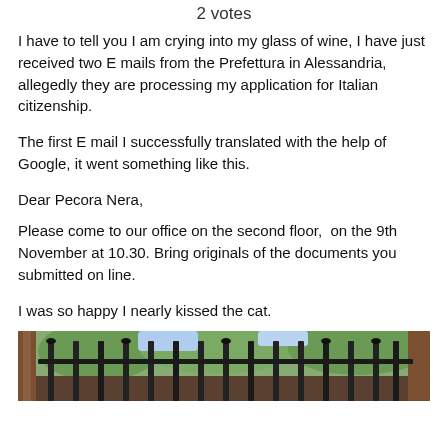2 votes
I have to tell you I am crying into my glass of wine, I have just received two E mails from the Prefettura in Alessandria, allegedly they are processing my application for Italian citizenship.
The first E mail I successfully translated with the help of Google, it went something like this.
Dear Pecora Nera,
Please come to our office on the second floor,  on the 9th November at 10.30. Bring originals of the documents you submitted on line.
I was so happy I nearly kissed the cat.
[Figure (photo): Outdoor photo showing decorative iron fence or gate with candlestick/lamp holders, trees and foliage visible in the background.]